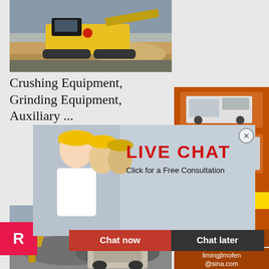[Figure (photo): Yellow mobile rock crushing machine on a construction/mining site with grey sky background]
Crushing Equipment, Grinding Equipment, Auxiliary ...
[Figure (screenshot): Live Chat popup overlay with woman in yellow hard hat and colleagues, red LIVE CHAT text, 'Click for a Free Consultation', Chat now and Chat later buttons]
[Figure (infographic): Orange sidebar panel showing mining equipment images, 'Enjoy 3% discount', 'Click to Chat' in yellow, 'Enquiry' section, and email limingjlmofen@sina.com]
[Figure (photo): Excavator and rock crushing machinery at a demolition or mining site]